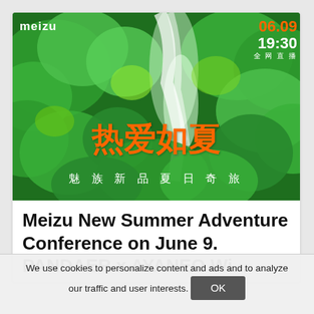[Figure (photo): Meizu promotional image with green nature/forest background, waterfall, orange Chinese characters reading '热爱如夏' (Love Like Summer), subtitle '魅族新品夏日奇旅' (Meizu New Product Summer Adventure), Meizu logo top-left, date 06.09 in orange and time 19:30 in white top-right, with '全网直播' (live broadcast) text]
Meizu New Summer Adventure Conference on June 9. PANDAER x AYANEO Wi...
We use cookies to personalize content and ads and to analyze our traffic and user interests.